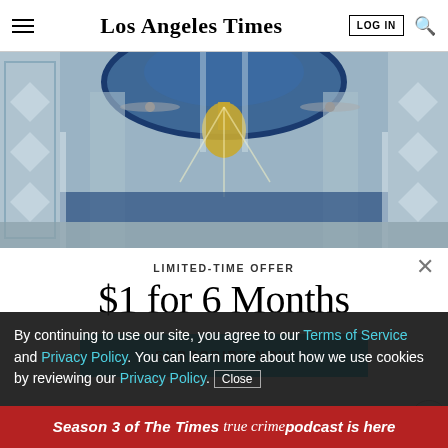Los Angeles Times
[Figure (photo): Interior of an ornate mosque or shrine with blue mosaic dome, chandelier, decorative mirrored columns, ceiling fans, and light rays]
LIMITED-TIME OFFER
$1 for 6 Months
SUBSCRIBE NOW
By continuing to use our site, you agree to our Terms of Service and Privacy Policy. You can learn more about how we use cookies by reviewing our Privacy Policy. Close
Season 3 of The Times true crime podcast is here